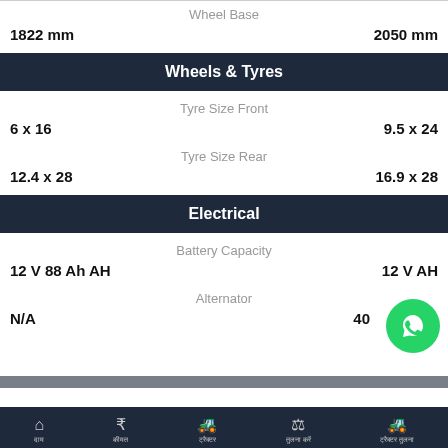Wheel Base
1822 mm | 2050 mm
Wheels & Tyres
Tyre Size Front
6 x 16 | 9.5 x 24
Tyre Size Rear
12.4 x 28 | 16.9 x 28
Electrical
Battery Capacity
12 V 88 Ah AH | 12 V AH
Alternator
N/A | 40
Home | Price | Tractor | Compare | Compare Tractors